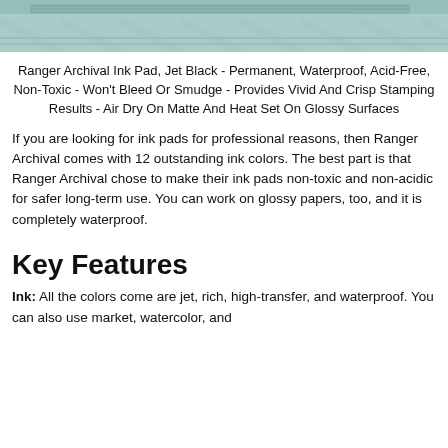[Figure (photo): Partial product image of Ranger Archival Ink Pad, showing teal/aqua colored top edge of the ink pad packaging at the very top of the page]
Ranger Archival Ink Pad, Jet Black - Permanent, Waterproof, Acid-Free, Non-Toxic - Won't Bleed Or Smudge - Provides Vivid And Crisp Stamping Results - Air Dry On Matte And Heat Set On Glossy Surfaces
If you are looking for ink pads for professional reasons, then Ranger Archival comes with 12 outstanding ink colors. The best part is that Ranger Archival chose to make their ink pads non-toxic and non-acidic for safer long-term use. You can work on glossy papers, too, and it is completely waterproof.
Key Features
Ink: All the colors come are jet, rich, high-transfer, and waterproof. You can also use market, watercolor, and pigment on top of them and the ink will resist it. The